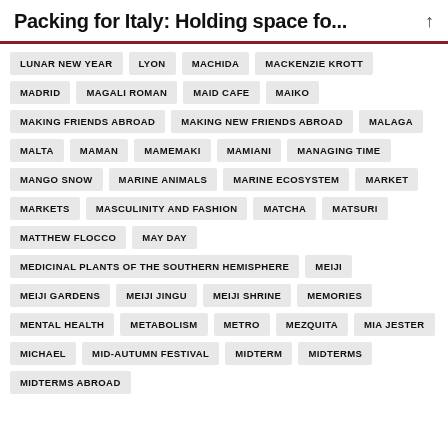Packing for Italy: Holding space fo...
LUNAR NEW YEAR
LYON
MACHIDA
MACKENZIE KROTT
MADRID
MAGALI ROMAN
MAID CAFE
MAIKO
MAKING FRIENDS ABROAD
MAKING NEW FRIENDS ABROAD
MALAGA
MALTA
MAMAN
MAMEMAKI
MAMIANI
MANAGING TIME
MANGO SNOW
MARINE ANIMALS
MARINE ECOSYSTEM
MARKET
MARKETS
MASCULINITY AND FASHION
MATCHA
MATSURI
MATTHEW FLOCCO
MAY DAY
MEDICINAL PLANTS OF THE SOUTHERN HEMISPHERE
MEIJI
MEIJI GARDENS
MEIJI JINGU
MEIJI SHRINE
MEMORIES
MENTAL HEALTH
METABOLISM
METRO
MEZQUITA
MIA JESTER
MICHAEL
MID-AUTUMN FESTIVAL
MIDTERM
MIDTERMS
MIDTERMS ABROAD